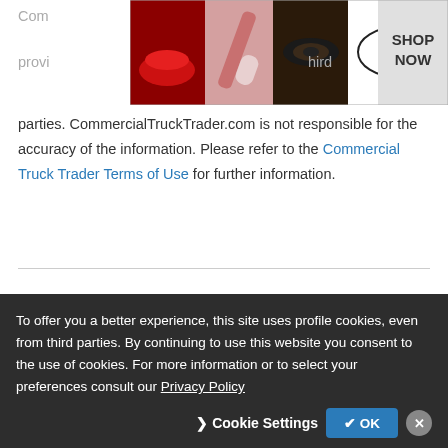[Figure (photo): Ulta Beauty advertisement banner showing cosmetic/makeup images with 'SHOP NOW' text]
CommercialTruckTrader.com is not responsible for the accuracy of the information. Please refer to the Commercial Truck Trader Terms of Use for further information.
Download Our App
[Figure (screenshot): App download buttons (partially visible)]
To offer you a better experience, this site uses profile cookies, even from third parties. By continuing to use this website you consent to the use of cookies. For more information or to select your preferences consult our Privacy Policy
Cookie Settings  ✓ OK  ✕